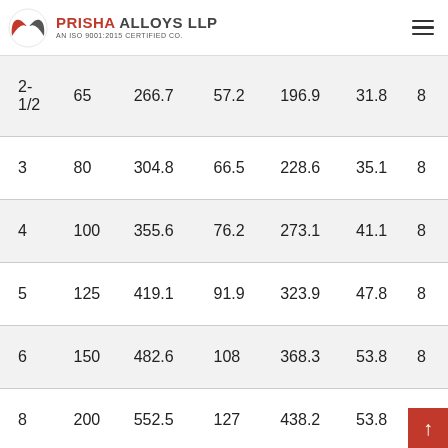PRISHA ALLOYS LLP — AN ISO 9001:2015 CERTIFIED CO.
| 2-1/2 | 65 | 266.7 | 57.2 | 196.9 | 31.8 | 8 |
| 3 | 80 | 304.8 | 66.5 | 228.6 | 35.1 | 8 |
| 4 | 100 | 355.6 | 76.2 | 273.1 | 41.1 | 8 |
| 5 | 125 | 419.1 | 91.9 | 323.9 | 47.8 | 8 |
| 6 | 150 | 482.6 | 108 | 368.3 | 53.8 | 8 |
| 8 | 200 | 552.5 | 127 | 438.2 | 53.8 | 12 |